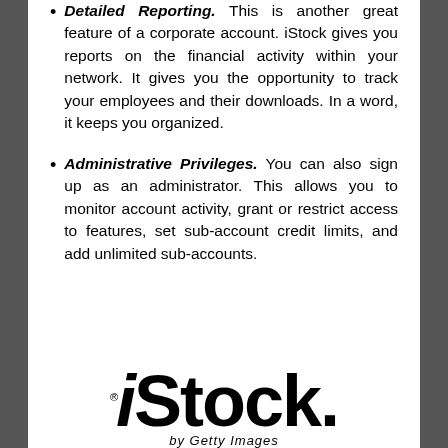Detailed Reporting. This is another great feature of a corporate account. iStock gives you reports on the financial activity within your network. It gives you the opportunity to track your employees and their downloads. In a word, it keeps you organized.
Administrative Privileges. You can also sign up as an administrator. This allows you to monitor account activity, grant or restrict access to features, set sub-account credit limits, and add unlimited sub-accounts.
[Figure (logo): iStock logo in large bold black text with trademark symbol]